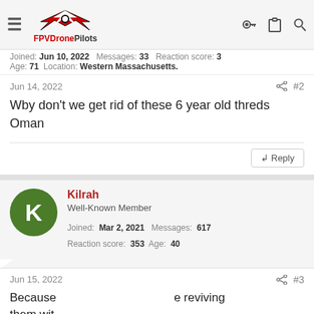FPVDronePilots navigation bar
Joined: Jun 10, 2022  Messages: 33  Reaction score: 3  Age: 71  Location: Western Massachusetts.
Jun 14, 2022  #2
Wby don't we get rid of these 6 year old threds
Oman
Reply
Kilrah
Well-Known Member
Joined: Mar 2, 2021  Messages: 617
Reaction score: 353  Age: 40
Jun 15, 2022  #3
Because ... e reviving
them wit ...
[Figure (screenshot): Wolf game advertisement banner — 'THE HUNT IS ON!' with wolves in a field, showing close and question mark buttons]